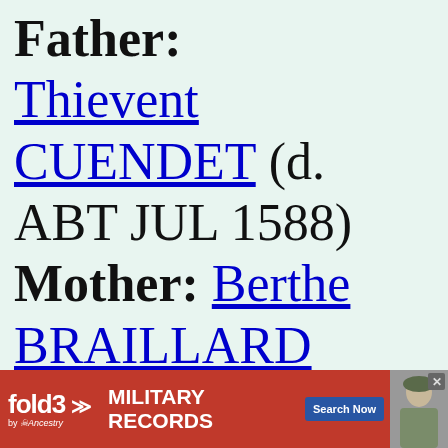Father: Thievent CUENDET (d. ABT JUL 1588) Mother: Berthe BRAILLARD (dates
[Figure (infographic): Advertisement banner for fold3 Military Records by Ancestry, with red background, fold3 logo with chevrons, text MILITARY RECORDS, Search Now button, close button, and a photo of a soldier.]